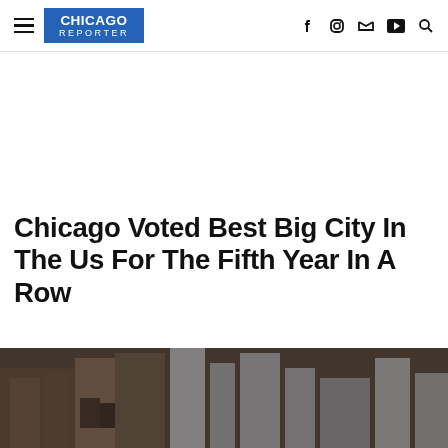CHICAGO REPORTER
Chicago Voted Best Big City In The Us For The Fifth Year In A Row
[Figure (photo): Aerial/street-level view of Chicago city buildings and skyline, partially obscured, dark toned photograph]